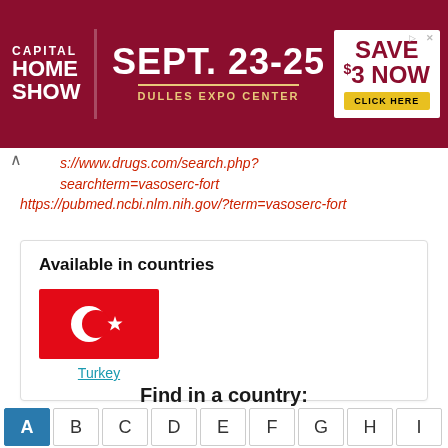[Figure (other): Capital Home Show advertisement banner: SEPT. 23-25, DULLES EXPO CENTER, SAVE $3 NOW, CLICK HERE]
s://www.drugs.com/search.php?searchterm=vasoserc-fort
https://pubmed.ncbi.nlm.nih.gov/?term=vasoserc-fort
Available in countries
[Figure (illustration): Turkish flag - red background with white crescent moon and star]
Turkey
Find in a country:
A B C D E F G H I